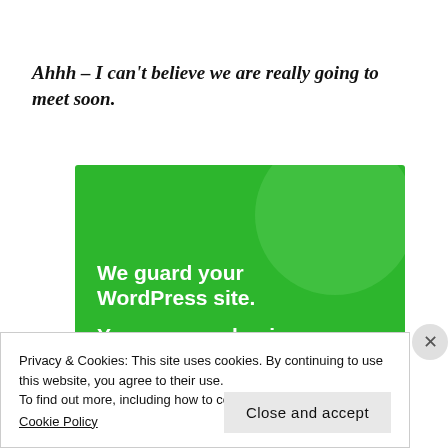Ahhh – I can't believe we are really going to meet soon.
[Figure (illustration): Green advertisement banner with text 'We guard your WordPress site. You run your business.' with a lighter green circle in the top right corner.]
Privacy & Cookies: This site uses cookies. By continuing to use this website, you agree to their use.
To find out more, including how to control cookies, see here:
Cookie Policy
Close and accept